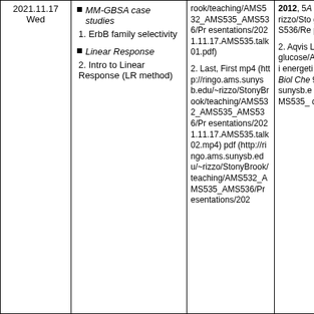| Date | Topics | Recordings | References |
| --- | --- | --- | --- |
| 2021.11.17 Wed | MM-GBSA case studies
1. ErbB family selectivity
Linear Response
2. Intro to Linear Response (LR method) | 1. Last, First mp4 (http://ringo.ams.sunysb.edu/~rizzo/StonyBrook/teaching/AMS532_AMS535_AMS536/Presentations/2021.11.17.AMS535.talk01.pdf)
2. Last, First mp4 (...) pdf (...) | 2012, 5... p://ringo... 2. Aqvis... L., Suga... glucose/... Evaluati... energeti... dynamic... Biol Che... 9978-81... sunysb.e... rook/tea... MS535_... ces/Aqv... |